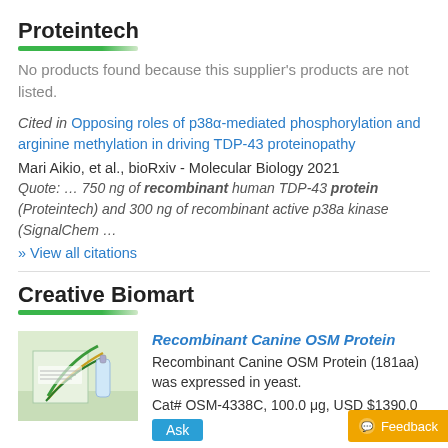Proteintech
No products found because this supplier's products are not listed.
Cited in Opposing roles of p38α-mediated phosphorylation and arginine methylation in driving TDP-43 proteinopathy
Mari Aikio, et al., bioRxiv - Molecular Biology 2021
Quote: ... 750 ng of recombinant human TDP-43 protein (Proteintech) and 300 ng of recombinant active p38a kinase (SignalChem ...
» View all citations
Creative Biomart
[Figure (photo): Product image showing Creative Biomart packaging/tubes with green and yellow design elements]
Recombinant Canine OSM Protein
Recombinant Canine OSM Protein (181aa) was expressed in yeast.
Cat# OSM-4338C, 100.0 μg, USD $1390.0
Ask
» View all matched products (1666